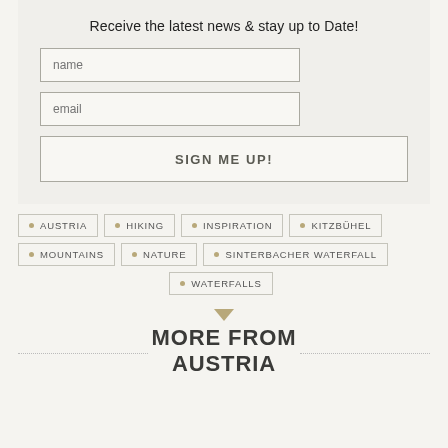Receive the latest news & stay up to Date!
[Figure (other): Newsletter signup form with name input, email input, and SIGN ME UP! button]
AUSTRIA
HIKING
INSPIRATION
KITZBÜHEL
MOUNTAINS
NATURE
SINTERBACHER WATERFALL
WATERFALLS
MORE FROM AUSTRIA